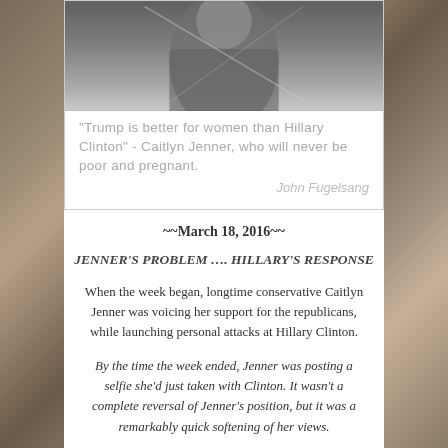[Figure (photo): Black and white photo of a person, partially visible, top portion of a quote card]
"Trump is better for women than Hillary Clinton" - Caitlyn Jenner, who will never be poor and pregnant.
John Fugelsang
~~March 18, 2016~~
JENNER'S PROBLEM …. HILLARY'S RESPONSE
When the week began, longtime conservative Caitlyn Jenner was voicing her support for the republicans, while launching personal attacks at Hillary Clinton.
By the time the week ended, Jenner was posting a selfie she'd just taken with Clinton. It wasn't a complete reversal of Jenner's position, but it was a remarkably quick softening of her views.